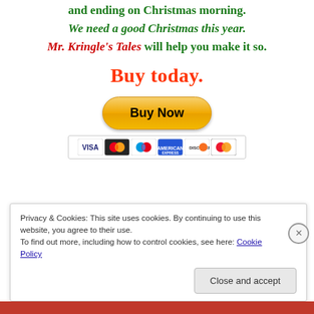and ending on Christmas morning.
We need a good Christmas this year.
Mr. Kringle's Tales will help you make it so.
Buy today.
[Figure (other): PayPal Buy Now button with payment card icons (VISA, Mastercard, Maestro, American Express, Discover, MasterCard)]
Privacy & Cookies: This site uses cookies. By continuing to use this website, you agree to their use.
To find out more, including how to control cookies, see here: Cookie Policy
Close and accept